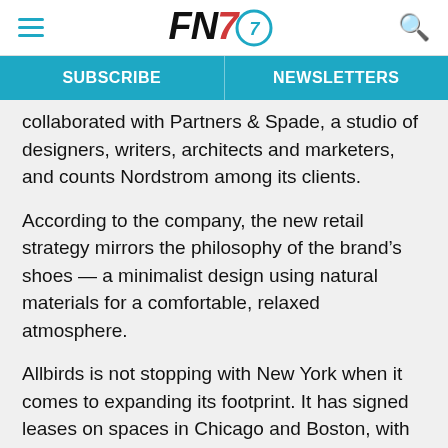FN7 [logo]
SUBSCRIBE   NEWSLETTERS
collaborated with Partners & Spade, a studio of designers, writers, architects and marketers, and counts Nordstrom among its clients.
According to the company, the new retail strategy mirrors the philosophy of the brand’s shoes — a minimalist design using natural materials for a comfortable, relaxed atmosphere.
Allbirds is not stopping with New York when it comes to expanding its footprint. It has signed leases on spaces in Chicago and Boston, with Los Angeles and Washington in the pipeline. And the company is planning to add another eight stores in the U.S. in the next year. Two permanent stores overseas are also being considered.